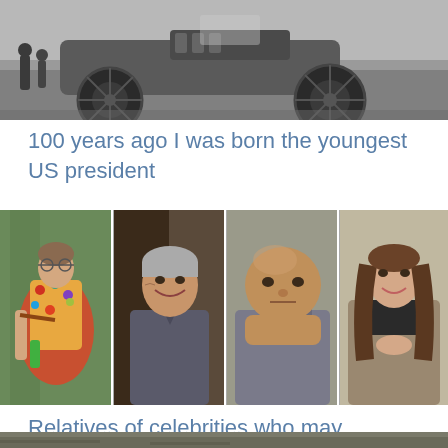[Figure (photo): Black and white historical photograph showing an old car with large spoke wheels and people standing nearby]
100 years ago I was born the youngest US president
[Figure (photo): Collage of four celebrity-related photos: an older woman in colorful floral jacket, a smiling grey-haired man in dark shirt, a heavyset bald man in grey polo, and a brunette woman in a trench coat]
Relatives of celebrities who may surprise you
[Figure (photo): Partially visible photo at bottom of page]